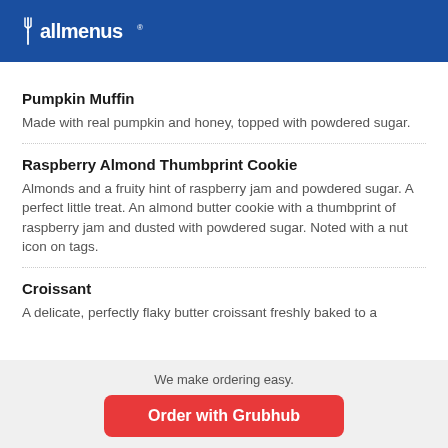[Figure (logo): allmenus logo with fork and knife icon in white on blue background]
Pumpkin Muffin
Made with real pumpkin and honey, topped with powdered sugar.
Raspberry Almond Thumbprint Cookie
Almonds and a fruity hint of raspberry jam and powdered sugar. A perfect little treat. An almond butter cookie with a thumbprint of raspberry jam and dusted with powdered sugar. Noted with a nut icon on tags.
Croissant
A delicate, perfectly flaky butter croissant freshly baked to a
We make ordering easy.
Order with Grubhub